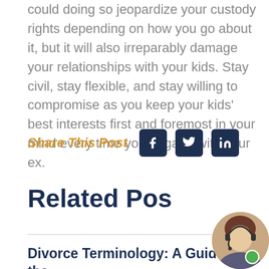could doing so jeopardize your custody rights depending on how you go about it, but it will also irreparably damage your relationships with your kids. Stay civil, stay flexible, and stay willing to compromise as you keep your kids' best interests first and foremost in your mind every time you engage with your ex.
Share This Post
[Figure (other): Social media share icons: Facebook, Twitter, LinkedIn]
Related Pos...
[Figure (other): Chat widget overlay with close button (x), speech bubble saying 'Need some assistance?', and a customer service avatar with headset and green online indicator dot]
Divorce Terminology: A Guide to the...